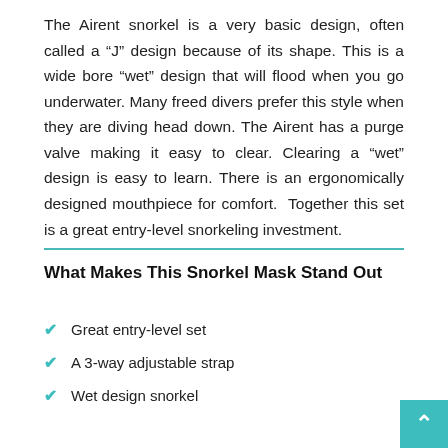The Airent snorkel is a very basic design, often called a “J” design because of its shape. This is a wide bore “wet” design that will flood when you go underwater. Many freed divers prefer this style when they are diving head down. The Airent has a purge valve making it easy to clear. Clearing a “wet” design is easy to learn. There is an ergonomically designed mouthpiece for comfort. Together this set is a great entry-level snorkeling investment.
What Makes This Snorkel Mask Stand Out
Great entry-level set
A 3-way adjustable strap
Wet design snorkel